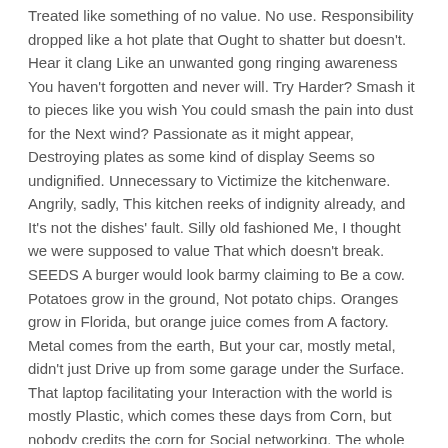Treated like something of no value. No use. Responsibility dropped like a hot plate that Ought to shatter but doesn't. Hear it clang Like an unwanted gong ringing awareness You haven't forgotten and never will. Try Harder? Smash it to pieces like you wish You could smash the pain into dust for the Next wind? Passionate as it might appear, Destroying plates as some kind of display Seems so undignified. Unnecessary to Victimize the kitchenware. Angrily, sadly, This kitchen reeks of indignity already, and It's not the dishes' fault. Silly old fashioned Me, I thought we were supposed to value That which doesn't break. SEEDS A burger would look barmy claiming to Be a cow. Potatoes grow in the ground, Not potato chips. Oranges grow in Florida, but orange juice comes from A factory. Metal comes from the earth, But your car, mostly metal, didn't just Drive up from some garage under the Surface. That laptop facilitating your Interaction with the world is mostly Plastic, which comes these days from Corn, but nobody credits the corn for Social networking. The whole point is No matter who or what we come from, Life changes us into something separate, Distinct, different, new called ourselves. When this happens with natural things, We say it's so great, but when it happens With people, for some it's a sign of the End times. Maybe not all transformation Is good, but can you think of anything Worse than none at all? So we needn't See ourselves as betrayers if we stray From our roots – that's what seeds do.